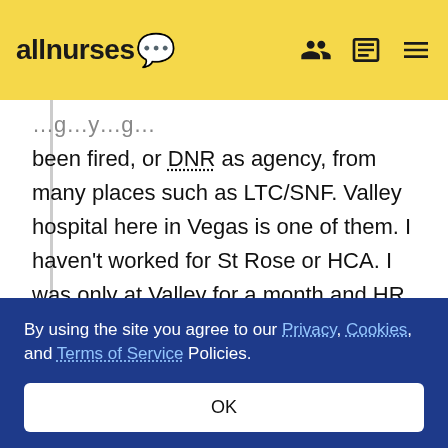allnurses
been fired, or DNR as agency, from many places such as LTC/SNF. Valley hospital here in Vegas is one of them. I haven't worked for St Rose or HCA. I was only at Valley for a month and HR said we're going to go ahead and move forward with termination...and the unit manager who was in there with
By using the site you agree to our Privacy, Cookies, and Terms of Service Policies.
OK